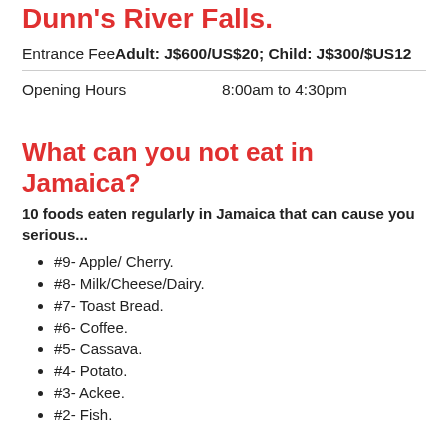Dunn's River Falls.
Entrance Fee Adult: J$600/US$20; Child: J$300/$US12
Opening Hours    8:00am to 4:30pm
What can you not eat in Jamaica?
10 foods eaten regularly in Jamaica that can cause you serious...
#9- Apple/ Cherry.
#8- Milk/Cheese/Dairy.
#7- Toast Bread.
#6- Coffee.
#5- Cassava.
#4- Potato.
#3- Ackee.
#2- Fish.